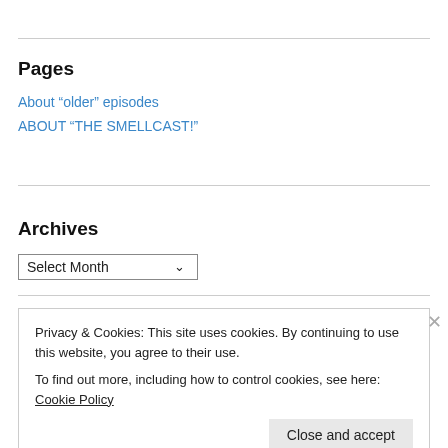Pages
About “older” episodes
ABOUT “THE SMELLCAST!”
Archives
Select Month (dropdown)
Privacy & Cookies: This site uses cookies. By continuing to use this website, you agree to their use.
To find out more, including how to control cookies, see here: Cookie Policy
Close and accept